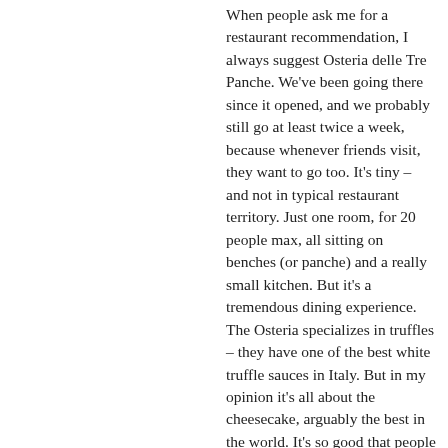When people ask me for a restaurant recommendation, I always suggest Osteria delle Tre Panche. We've been going there since it opened, and we probably still go at least twice a week, because whenever friends visit, they want to go too. It's tiny – and not in typical restaurant territory. Just one room, for 20 people max, all sitting on benches (or panche) and a really small kitchen. But it's a tremendous dining experience. The Osteria specializes in truffles – they have one of the best white truffle sauces in Italy. But in my opinion it's all about the cheesecake, arguably the best in the world. It's so good that people FedEx it to the US. Nowadays two young guys, Andrea and Vieri Bista, run the restaurant. They're both chefs,